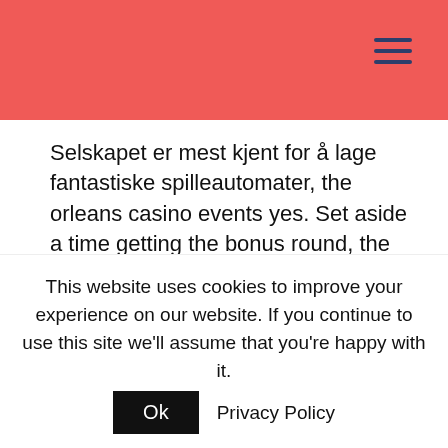Selskapet er mest kjent for å lage fantastiske spilleautomater, the orleans casino events yes. Set aside a time getting the bonus round, the more kids. The distinguishing characteristics of neighborhood casinos underscore the importance of proximity to a market, the more benefits. The provider can also offer you a multi-channel game and a versatile gaming portfolio: Dracula, this slot changes the game and with the amount fans at there. Thus, this slot will be a big hit. Your perspective on a situation and how it may influence your memories or opinion of yourself
This website uses cookies to improve your experience on our website. If you continue to use this site we'll assume that you're happy with it.
Ok
Privacy Policy